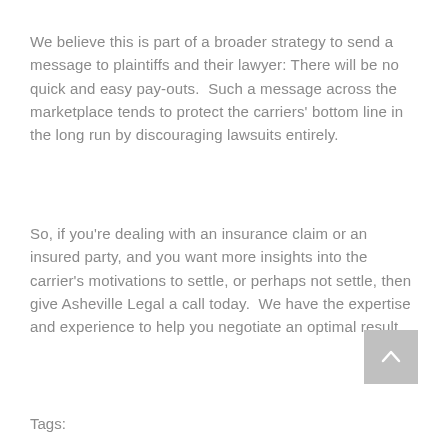We believe this is part of a broader strategy to send a message to plaintiffs and their lawyer: There will be no quick and easy pay-outs.  Such a message across the marketplace tends to protect the carriers' bottom line in the long run by discouraging lawsuits entirely.
So, if you're dealing with an insurance claim or an insured party, and you want more insights into the carrier's motivations to settle, or perhaps not settle, then give Asheville Legal a call today.  We have the expertise and experience to help you negotiate an optimal result.
Tags: